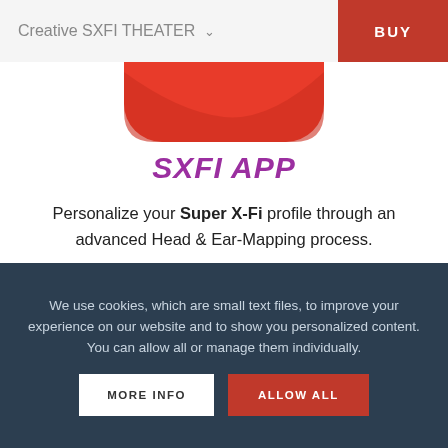Creative SXFI THEATER  ∨  BUY
[Figure (illustration): Partial view of a red rounded-rectangle app icon at the top of the content area]
SXFI APP
Personalize your Super X-Fi profile through an advanced Head & Ear-Mapping process.
We use cookies, which are small text files, to improve your experience on our website and to show you personalized content. You can allow all or manage them individually.